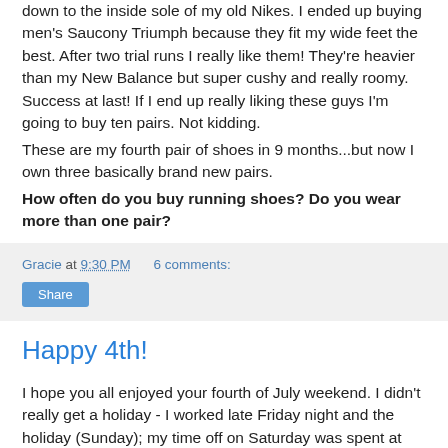down to the inside sole of my old Nikes. I ended up buying men's Saucony Triumph because they fit my wide feet the best. After two trial runs I really like them! They're heavier than my New Balance but super cushy and really roomy. Success at last! If I end up really liking these guys I'm going to buy ten pairs. Not kidding.
These are my fourth pair of shoes in 9 months...but now I own three basically brand new pairs.
How often do you buy running shoes? Do you wear more than one pair?
Gracie at 9:30 PM    6 comments:
Share
Happy 4th!
I hope you all enjoyed your fourth of July weekend. I didn't really get a holiday - I worked late Friday night and the holiday (Sunday); my time off on Saturday was spent at my nephew's first birthday party. Which was ridiculous.